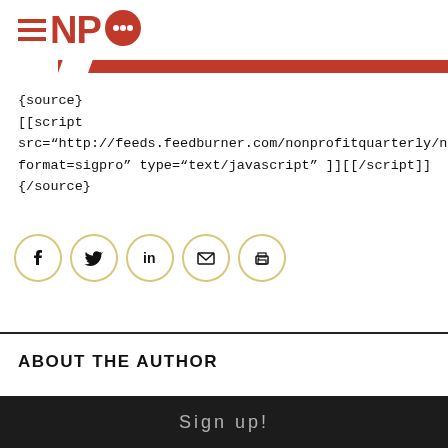NPQ (Nonprofit Quarterly) logo with hamburger menu icon
{source}
[[script src="http://feeds.feedburner.com/nonprofitquarterly/new format=sigpro" type="text/javascript" ]][[/script]]
{/source}
[Figure (infographic): Row of 5 social sharing icon circles: Facebook, Twitter, LinkedIn, Email, Print]
ABOUT THE AUTHOR
Sign up!